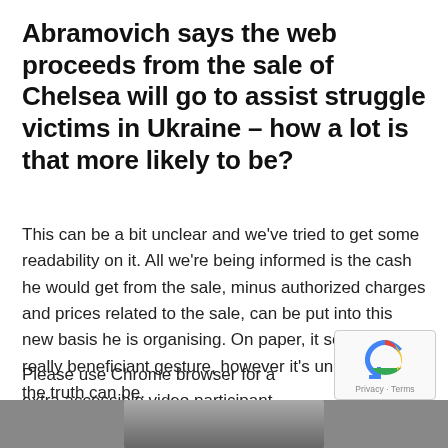Abramovich says the web proceeds from the sale of Chelsea will go to assist struggle victims in Ukraine – how a lot is that more likely to be?
This can be a bit unclear and we've tried to get some readability on it. All we're being informed is the cash he would get from the sale, minus authorized charges and prices related to the sale, can be put into this new basis he is organising. On paper, it seems a really beneficiant gesture, however it's unclear what the truth can be.
Please use Chrome browser for a extra accessible video participant
[Figure (photo): Bottom strip showing partial photo of a person, partially cropped]